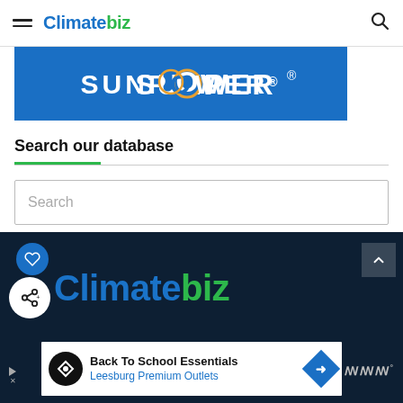Climatebiz
[Figure (logo): SunPower logo on blue background banner]
Search our database
[Figure (screenshot): Search input box with placeholder text 'Search']
[Figure (logo): Climatebiz logo in dark footer section with share and heart buttons]
[Figure (infographic): Advertisement banner: Back To School Essentials - Leesburg Premium Outlets]